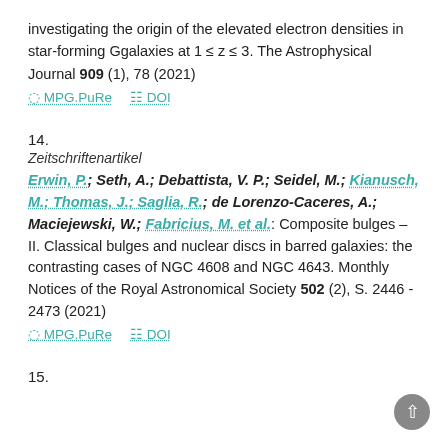investigating the origin of the elevated electron densities in star-forming Ggalaxies at 1 ≤ z ≤ 3. The Astrophysical Journal 909 (1), 78 (2021)
MPG.PuRe   DOI
14.
Zeitschriftenartikel
Erwin, P.; Seth, A.; Debattista, V. P.; Seidel, M.; Kianusch, M.; Thomas, J.; Saglia, R.; de Lorenzo-Caceres, A.; Maciejewski, W.; Fabricius, M. et al.: Composite bulges – II. Classical bulges and nuclear discs in barred galaxies: the contrasting cases of NGC 4608 and NGC 4643. Monthly Notices of the Royal Astronomical Society 502 (2), S. 2446 - 2473 (2021)
MPG.PuRe   DOI
15.